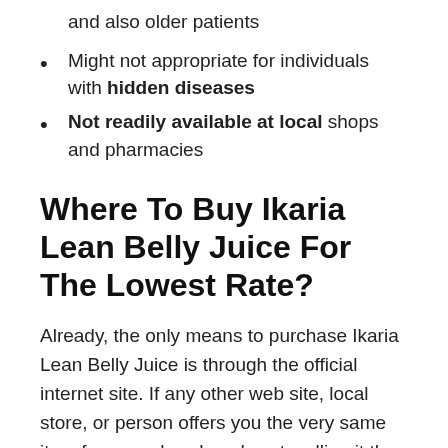and also older patients
Might not appropriate for individuals with hidden diseases
Not readily available at local shops and pharmacies
Where To Buy Ikaria Lean Belly Juice For The Lowest Rate?
Already, the only means to purchase Ikaria Lean Belly Juice is through the official internet site. If any other web site, local store, or person offers you the very same item for a much reduced cost, calling it the list price, do not believe it. The components, production, as well as item handling